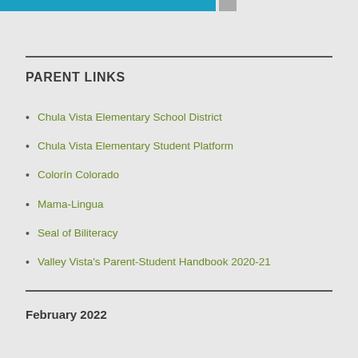PARENT LINKS
Chula Vista Elementary School District
Chula Vista Elementary Student Platform
Colorín Colorado
Mama-Lingua
Seal of Biliteracy
Valley Vista's Parent-Student Handbook 2020-21
February 2022